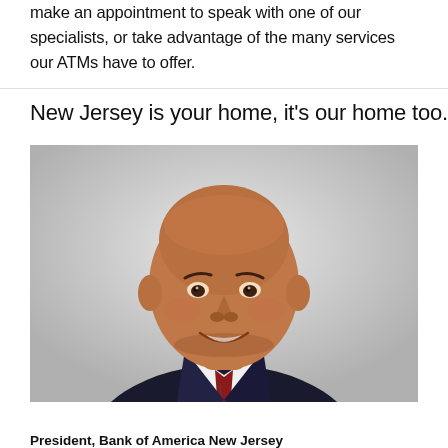make an appointment to speak with one of our specialists, or take advantage of the many services our ATMs have to offer.
New Jersey is your home, it's our home too.
[Figure (photo): Professional headshot of a bald smiling man in a dark suit and striped tie, on a light gray background.]
President, Bank of America New Jersey